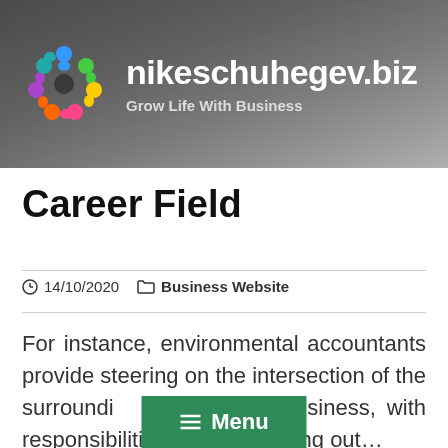[Figure (logo): Colorful circular people logo for nikeschuhegev.biz]
nikeschuhegev.biz
Grow Life With Business
Career Field
14/10/2020   Business Website
For instance, environmental accountants provide steering on the intersection of the surroundings and business, with responsibilities figuring out…